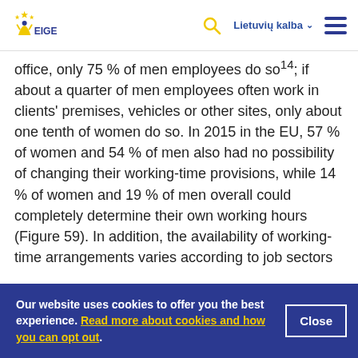EIGE — Lietuvių kalba
office, only 75 % of men employees do so¹⁴; if about a quarter of men employees often work in clients' premises, vehicles or other sites, only about one tenth of women do so. In 2015 in the EU, 57 % of women and 54 % of men also had no possibility of changing their working-time provisions, while 14 % of women and 19 % of men overall could completely determine their own working hours (Figure 59). In addition, the availability of working-time arrangements varies according to job sectors
Our website uses cookies to offer you the best experience. Read more about cookies and how you can opt out.